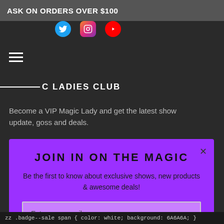ASK ON ORDERS OVER $100
[Figure (illustration): Social media icons: Twitter (blue bird), Instagram (gradient camera), YouTube (red circle with play button)]
[Figure (illustration): Hamburger menu icon (three horizontal lines)]
C LADIES CLUB
Become a VIP Magic Lady and get the latest show update, goss and deals.
JOIN IN ON THE MAGIC
Be the first to know about exclusive shows, new products & awesome deals!
Enter your email
SUBSCRIBE
zz .badge--sale span { color: white; background: 6A6A6A; }